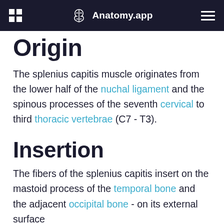Anatomy.app
Origin
The splenius capitis muscle originates from the lower half of the nuchal ligament and the spinous processes of the seventh cervical to third thoracic vertebrae (C7 - T3).
Insertion
The fibers of the splenius capitis insert on the mastoid process of the temporal bone and the adjacent occipital bone - on its external surface